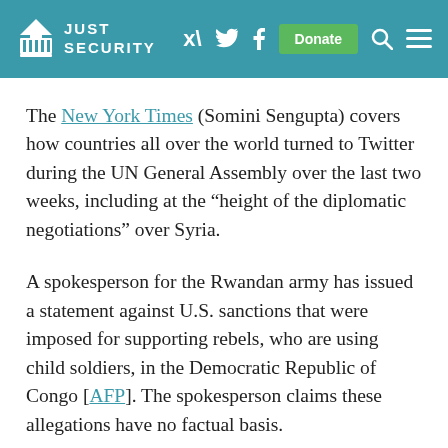JUST SECURITY
The New York Times (Somini Sengupta) covers how countries all over the world turned to Twitter during the UN General Assembly over the last two weeks, including at the “height of the diplomatic negotiations” over Syria.
A spokesperson for the Rwandan army has issued a statement against U.S. sanctions that were imposed for supporting rebels, who are using child soldiers, in the Democratic Republic of Congo [AFP]. The spokesperson claims these allegations have no factual basis.